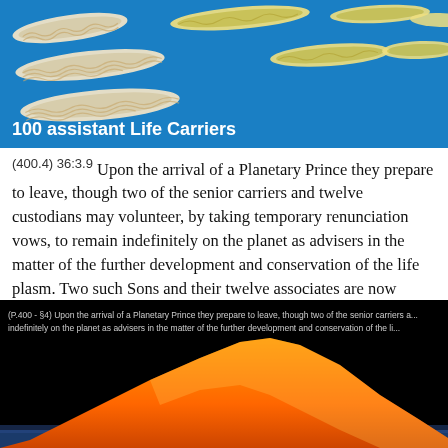[Figure (illustration): Blue background with rows of white/cream curved worm-like shapes (life carriers) arranged in rows. Label reads '100 assistant Life Carriers' at bottom left in white bold text.]
(400.4) 36:3.9 Upon the arrival of a Planetary Prince they prepare to leave, though two of the senior carriers and twelve custodians may volunteer, by taking temporary renunciation vows, to remain indefinitely on the planet as advisers in the matter of the further development and conservation of the life plasm. Two such Sons and their twelve associates are now serving on Urantia.
[Figure (illustration): Dark/black background with an orange mountain or hill shape at the bottom, and a text caption at the top reading: '(P.400 - §4) Upon the arrival of a Planetary Prince they prepare to leave, though two of the senior carriers a... indefinitely on the planet as advisers in the matter of the further development and conservation of the li...']